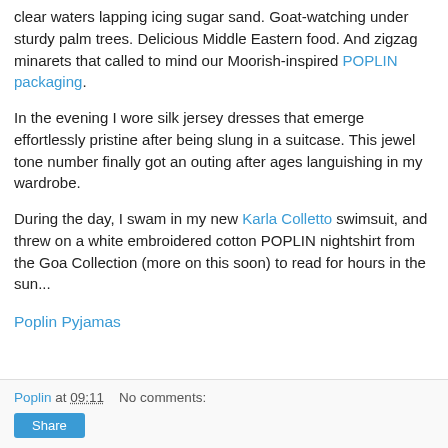clear waters lapping icing sugar sand. Goat-watching under sturdy palm trees. Delicious Middle Eastern food. And zigzag minarets that called to mind our Moorish-inspired POPLIN packaging.
In the evening I wore silk jersey dresses that emerge effortlessly pristine after being slung in a suitcase. This jewel tone number finally got an outing after ages languishing in my wardrobe.
During the day, I swam in my new Karla Colletto swimsuit, and threw on a white embroidered cotton POPLIN nightshirt from the Goa Collection (more on this soon) to read for hours in the sun...
Poplin Pyjamas
Poplin at 09:11   No comments:
Share